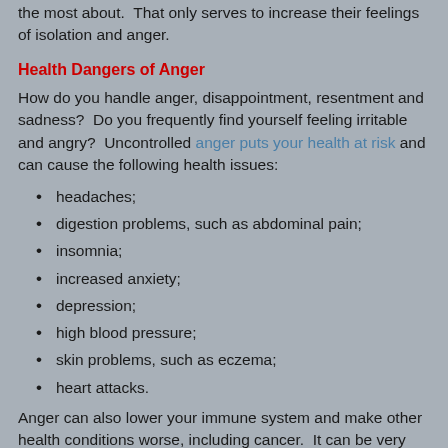the most about.  That only serves to increase their feelings of isolation and anger.
Health Dangers of Anger
How do you handle anger, disappointment, resentment and sadness?  Do you frequently find yourself feeling irritable and angry?  Uncontrolled anger puts your health at risk and can cause the following health issues:
headaches;
digestion problems, such as abdominal pain;
insomnia;
increased anxiety;
depression;
high blood pressure;
skin problems, such as eczema;
heart attacks.
Anger can also lower your immune system and make other health conditions worse, including cancer.  It can be very